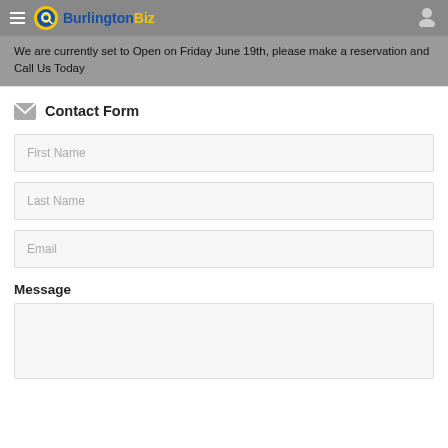BurlingtonBiz
We are currently set to Open on Friday June 19th, please make a reservation and Call Us Today
Contact Form
First Name
Last Name
Email
Message